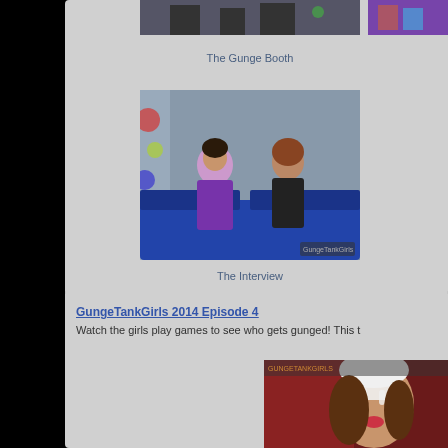[Figure (photo): The Gunge Booth - video thumbnail showing people at a gunge booth, partially visible at top]
The Gunge Booth
[Figure (photo): The Interview - two women seated on a blue couch, one in a purple dress, one in a black outfit, against a painted wall background]
The Interview
GungeTankGirls 2014 Episode 4
Watch the girls play games to see who gets gunged! This t
[Figure (photo): Partially visible photo of a girl being gunged with white slime on her head, smiling, against a dark red background]